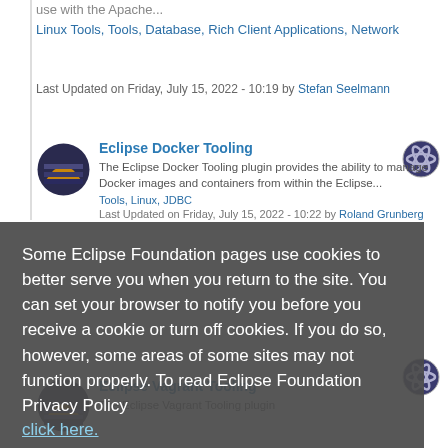use with the Apache...
Linux Tools, Tools, Database, Rich Client Applications, Network
Last Updated on Friday, July 15, 2022 - 10:19 by Stefan Seelmann
Eclipse Docker Tooling
The Eclipse Docker Tooling plugin provides the ability to manage Docker images and containers from within the Eclipse...
Tools, Linux, JDBC
Last Updated on Friday, July 15, 2022 - 10:22 by Roland Grunberg
Some Eclipse Foundation pages use cookies to better serve you when you return to the site. You can set your browser to notify you before you receive a cookie or turn off cookies. If you do so, however, some areas of some sites may not function properly. To read Eclipse Foundation Privacy Policy click here.
Eclipse Vagrant Tooling
The Eclipse Vagrant Tooling plugin